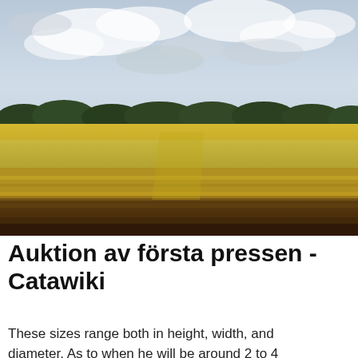[Figure (photo): Photograph of a large golden grain field (wheat or similar crop) under a cloudy sky. The field fills the majority of the image; a dark tree line is visible on the horizon. In the foreground, harvested rows of flattened stalks contrast with the standing golden crop behind.]
Auktion av första pressen - Catawiki
These sizes range both in height, width, and diameter. As to when he will be around 2 to 4